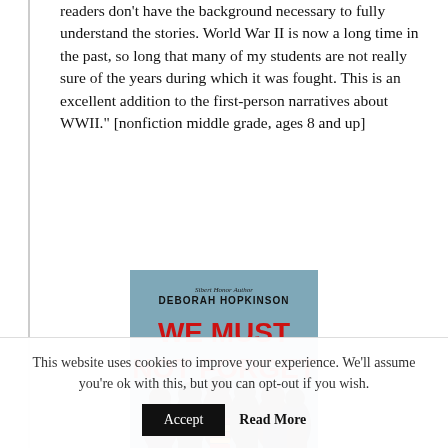readers don't have the background necessary to fully understand the stories. World War II is now a long time in the past, so long that many of my students are not really sure of the years during which it was fought. This is an excellent addition to the first-person narratives about WWII." [nonfiction middle grade, ages 8 and up]
[Figure (illustration): Book cover of 'We Must Not Forget' by Deborah Hopkinson showing a group of children including one in a striped vest. Red bold title text on blue-grey background.]
This website uses cookies to improve your experience. We'll assume you're ok with this, but you can opt-out if you wish.